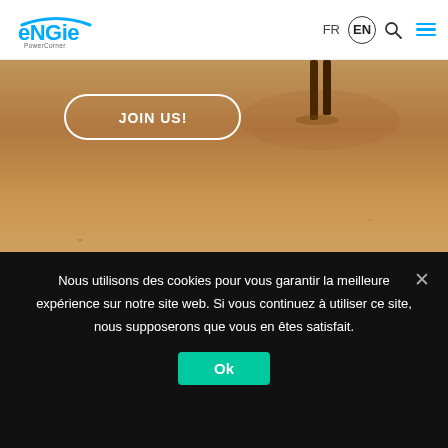ENGIE PowerCorner — FR EN navigation bar
[Figure (screenshot): ENGIE PowerCorner website header with logo, FR/EN language switcher, search icon, hamburger menu, desert hero image with person silhouette and JOIN US! button, News heading, and cookie consent banner.]
JOIN US!
News
Nous utilisons des cookies pour vous garantir la meilleure expérience sur notre site web. Si vous continuez à utiliser ce site, nous supposerons que vous en êtes satisfait.
Ok